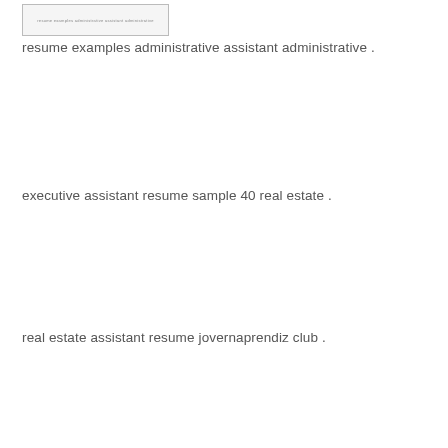[Figure (screenshot): Thumbnail image of a resume document with a text line visible at top]
resume examples administrative assistant administrative .
executive assistant resume sample 40 real estate .
real estate assistant resume jovernaprendiz club .